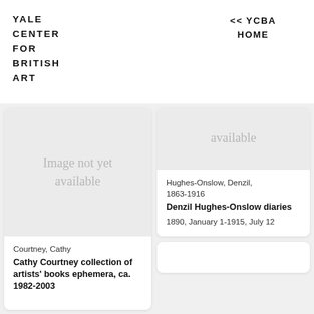YALE CENTER FOR BRITISH ART
<< YCBA HOME
[Figure (other): Image not yet available placeholder for Cathy Courtney collection]
Courtney, Cathy
Cathy Courtney collection of artists' books ephemera, ca. 1982-2003
[Figure (other): Image not yet available placeholder for Denzil Hughes-Onslow diaries]
Hughes-Onslow, Denzil, 1863-1916
Denzil Hughes-Onslow diaries
1890, January 1-1915, July 12